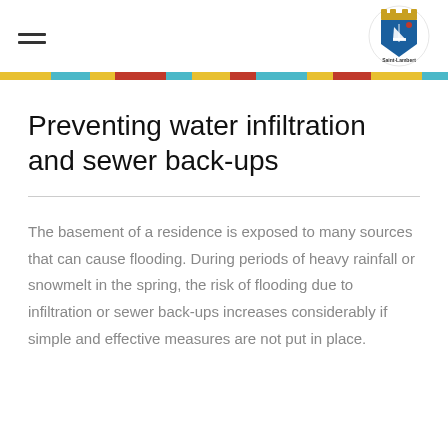Saint-Lambert city website header with hamburger menu and city coat of arms logo
Preventing water infiltration and sewer back-ups
The basement of a residence is exposed to many sources that can cause flooding. During periods of heavy rainfall or snowmelt in the spring, the risk of flooding due to infiltration or sewer back-ups increases considerably if simple and effective measures are not put in place.